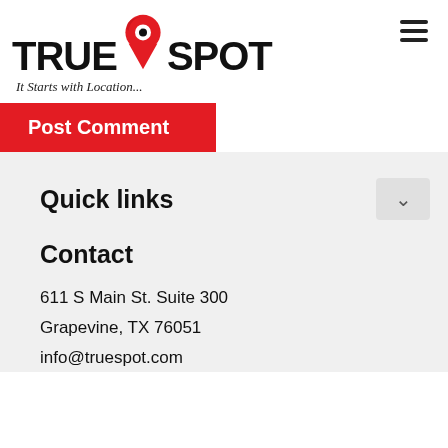[Figure (logo): TrueSpot logo with red map pin icon above the word TRUESPOT in bold black uppercase, and tagline 'It Starts with Location...' in italic below]
[Figure (other): Hamburger menu icon (three horizontal lines) in top right corner]
Post Comment
Quick links
Contact
611 S Main St. Suite 300
Grapevine, TX 76051
info@truespot.com